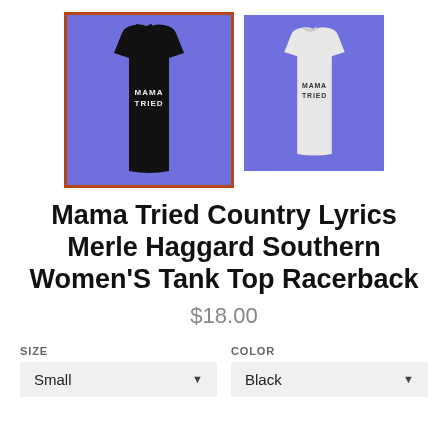[Figure (photo): Two product thumbnail images of women's racerback tank tops. Left image (selected, with orange border): black tank top with 'MAMA TRIED' text on blue background. Right image: white tank top with 'MAMA TRIED' text on blue background.]
Mama Tried Country Lyrics Merle Haggard Southern Women'S Tank Top Racerback
$18.00
SIZE
COLOR
Small
Black